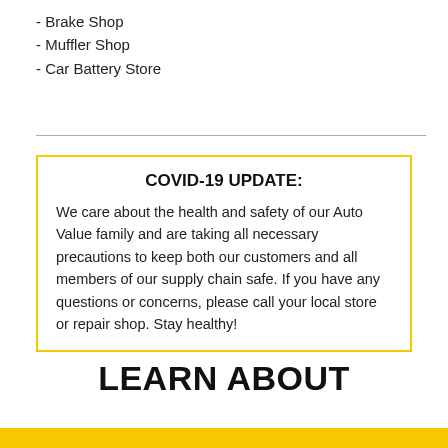- Brake Shop
- Muffler Shop
- Car Battery Store
COVID-19 UPDATE:
We care about the health and safety of our Auto Value family and are taking all necessary precautions to keep both our customers and all members of our supply chain safe. If you have any questions or concerns, please call your local store or repair shop. Stay healthy!
LEARN ABOUT